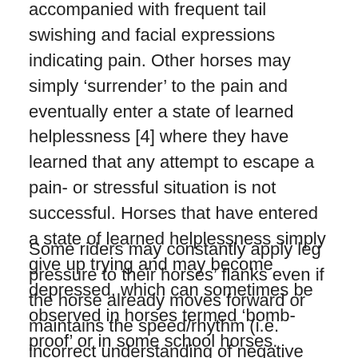accompanied with frequent tail swishing and facial expressions indicating pain. Other horses may simply 'surrender' to the pain and eventually enter a state of learned helplessness [4] where they have learned that any attempt to escape a pain- or stressful situation is not successful. Horses that have entered a state of learned helplessness simply give up trying and may become depressed, which can sometimes be observed in horses termed 'bomb-proof' or in some school horses.
Some riders may constantly apply leg pressure to their horses' flanks even if the horse already moves forward or maintains the speed/rhythm (i.e. incorrect understanding of negative reinforcement: no leg pressure release when the horse